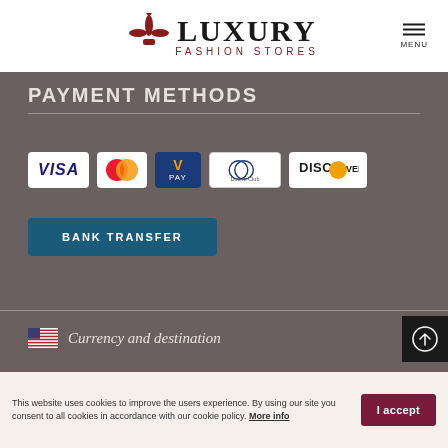LUXURY FASHION STORES
PAYMENT METHODS
[Figure (logo): Payment method logos: VISA, Mastercard, V PAY, Diners Club, Discover]
BANK TRANSFER
Currency and destination
This website uses cookies to improve the users experience. By using our site you consent to all cookies in accordance with our cookie policy. More info